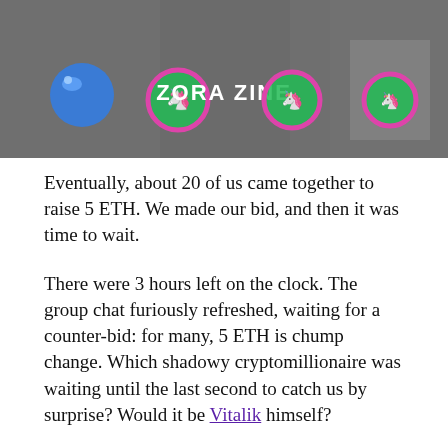[Figure (photo): Header image showing a grayscale photo of a person, overlaid with colorful NFT/crypto-style icons including a blue sphere, unicorn/dragon emoji NFTs, and text 'ZORA ZINE' in the center]
Eventually, about 20 of us came together to raise 5 ETH. We made our bid, and then it was time to wait.
There were 3 hours left on the clock. The group chat furiously refreshed, waiting for a counter-bid: for many, 5 ETH is chump change. Which shadowy cryptomillionaire was waiting until the last second to catch us by surprise? Would it be Vitalik himself?
I waited and waited. Two hours left, then 30 minutes. Nothing. As the clock ticked down, I realized that maybe our comradery scared everyone else off. Success!
Now I had 2 hours to Google “what to expect from bottle